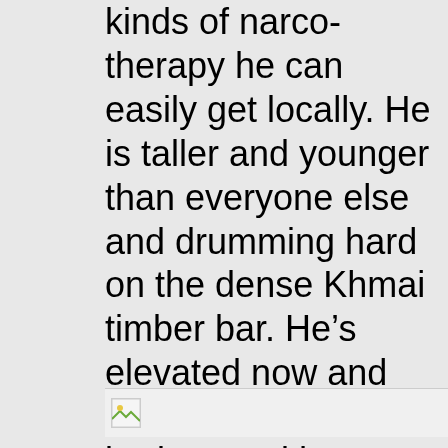American Suburbs into all kinds of narco-therapy he can easily get locally. He is taller and younger than everyone else and drumming hard on the dense Khmai timber bar. He’s elevated now and wants to talk, “I broke up with my girlfriend for three years. I put her on the back of my motorbike in Vietnam for three hours. I know she can take the pain.” He didn’t know the name of the local kid who just left nor did he dig election talk.
[Figure (photo): Broken image placeholder icon at bottom of page]